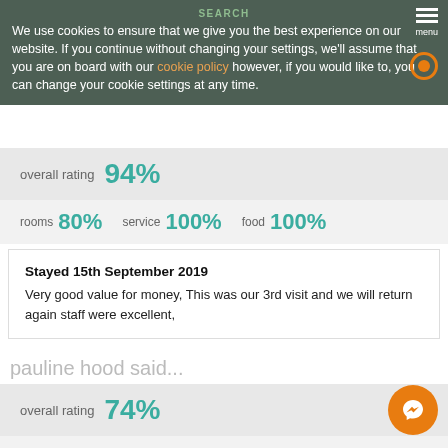SEARCH
We use cookies to ensure that we give you the best experience on our website. If you continue without changing your settings, we'll assume that you are on board with our cookie policy however, if you would like to, you can change your cookie settings at any time.
overall rating 94%
rooms 80%  service 100%  food 100%
Stayed 15th September 2019
Very good value for money, This was our 3rd visit and we will return again staff were excellent,
pauline hood said...
overall rating 74%
rooms 70%  service 70%  food 80%